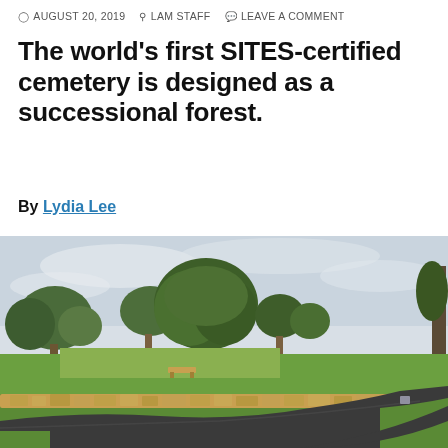AUGUST 20, 2019   LAM STAFF   LEAVE A COMMENT
The world's first SITES-certified cemetery is designed as a successional forest.
By Lydia Lee
[Figure (photo): Outdoor cemetery landscape with large mature trees, manicured green lawn, a curved paved pathway, and a stone-edged border. Daylight scene with cloudy sky.]